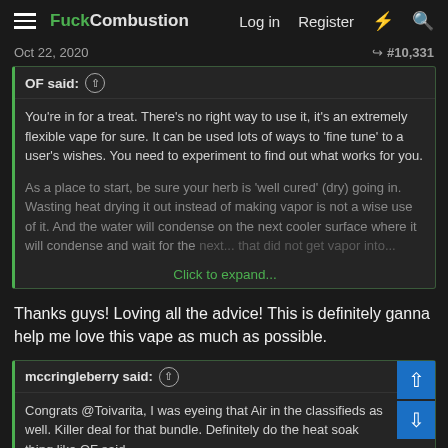FuckCombustion | Log in | Register
Oct 22, 2020   #10,331
OF said: ↑
You're in for a treat. There's no right way to use it, it's an extremely flexible vape for sure. It can be used lots of ways to 'fine tune' to a user's wishes. You need to experiment to find out what works for you.

As a place to start, be sure your herb is 'well cured' (dry) going in. Wasting heat drying it out instead of making vapor is not a wise use of it. And the water will condense on the next cooler surface where it will condense and wait for the... [Click to expand...]
Thanks guys! Loving all the advice! This is definitely ganna help me love this vape as much as possible.
mccringleberry said: ↑
Congrats @Toivarita, I was eyeing that Air in the classifieds as well. Killer deal for that bundle. Definitely do the heat soak thing like OF said.